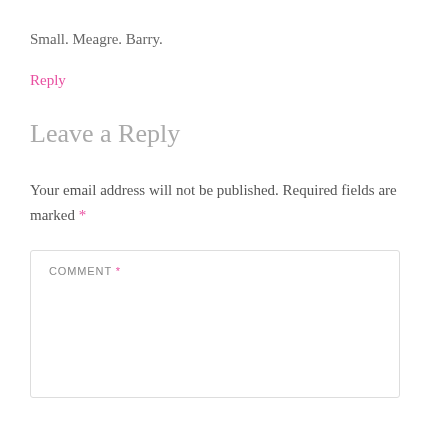Small. Meagre. Barry.
Reply
Leave a Reply
Your email address will not be published. Required fields are marked *
COMMENT *